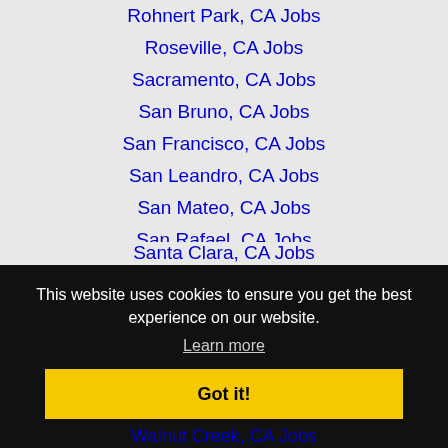Rohnert Park, CA Jobs
Roseville, CA Jobs
Sacramento, CA Jobs
San Bruno, CA Jobs
San Francisco, CA Jobs
San Leandro, CA Jobs
San Mateo, CA Jobs
San Rafael, CA Jobs
San Ramon, CA Jobs
Santa Clara, CA Jobs
This website uses cookies to ensure you get the best experience on our website.
Learn more
Got it!
Walnut Creek, CA Jobs